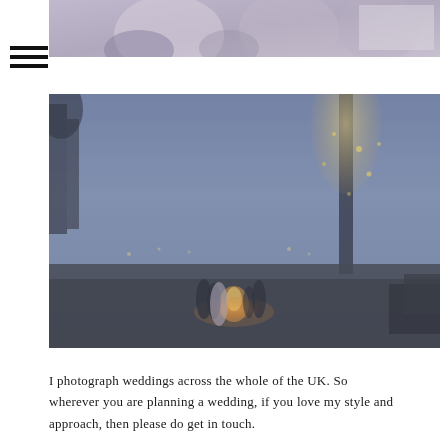[Figure (photo): Top portion of a wedding photo showing two people, partially cropped at top of page]
[Figure (photo): Outdoor evening wedding reception scene with people gathered around a fire pit, trees lit with fairy lights in the background, twilight sky]
I photograph weddings across the whole of the UK. So wherever you are planning a wedding, if you love my style and approach, then please do get in touch.